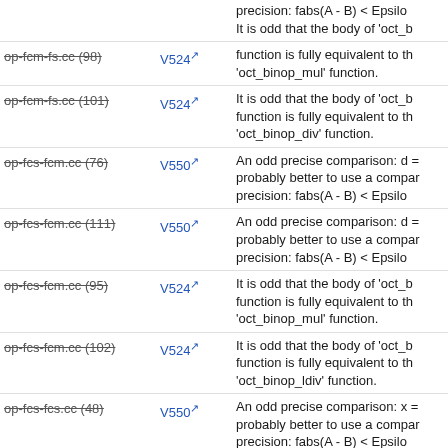| File | Code | Description |
| --- | --- | --- |
| op-fcm-fs.cc (98) | V524 | precision: fabs(A - B) < Epsilon
It is odd that the body of 'oct_b function is fully equivalent to th 'oct_binop_mul' function. |
| op-fcm-fs.cc (101) | V524 | It is odd that the body of 'oct_b function is fully equivalent to th 'oct_binop_div' function. |
| op-fcs-fcm.cc (76) | V550 | An odd precise comparison: d = probably better to use a compar precision: fabs(A - B) < Epsilon |
| op-fcs-fcm.cc (111) | V550 | An odd precise comparison: d = probably better to use a compar precision: fabs(A - B) < Epsilon |
| op-fcs-fcm.cc (95) | V524 | It is odd that the body of 'oct_b function is fully equivalent to th 'oct_binop_mul' function. |
| op-fcs-fcm.cc (102) | V524 | It is odd that the body of 'oct_b function is fully equivalent to th 'oct_binop_ldiv' function. |
| op-fcs-fcs.cc (48) | V550 | An odd precise comparison: x = probably better to use a compar precision: fabs(A - B) < Epsilon |
| op-fcs-fcs.cc (78) | V550 | An odd precise comparison: d = probably better to use a compar |